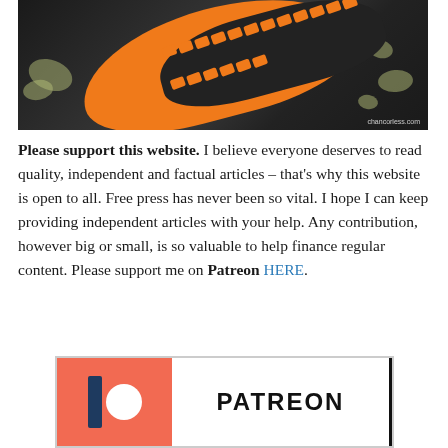[Figure (photo): Bottom sole of an orange and black trail running shoe photographed on a lichen-covered rock surface. Watermark reads 'chancorless.com' in bottom right corner.]
Please support this website. I believe everyone deserves to read quality, independent and factual articles – that's why this website is open to all. Free press has never been so vital. I hope I can keep providing independent articles with your help. Any contribution, however big or small, is so valuable to help finance regular content. Please support me on Patreon HERE.
[Figure (logo): Patreon logo with salmon/coral colored square background, dark navy vertical bar and white circle forming the P icon, followed by PATREON wordmark in bold black letters, with a vertical black dividing bar on the right edge.]